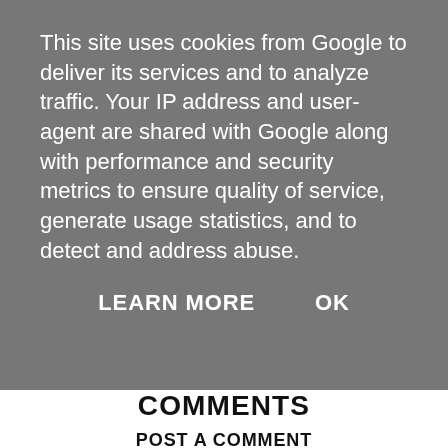This site uses cookies from Google to deliver its services and to analyze traffic. Your IP address and user-agent are shared with Google along with performance and security metrics to ensure quality of service, generate usage statistics, and to detect and address abuse.
LEARN MORE   OK
COMMENTS
POST A COMMENT
[Figure (illustration): Default user avatar icon — grey circle with a silhouette of a person]
Enter comment